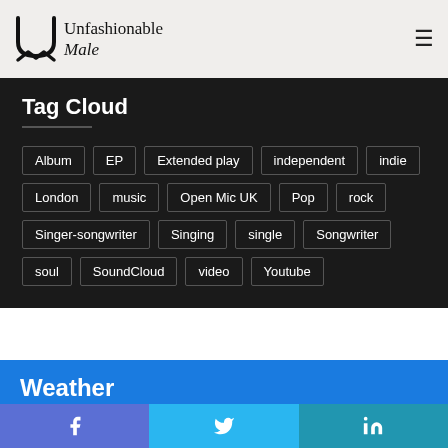Unfashionable Male
Tag Cloud
Album
EP
Extended play
independent
indie
London
music
Open Mic UK
Pop
rock
Singer-songwriter
Singing
single
Songwriter
soul
SoundCloud
video
Youtube
Weather
0 °C
Facebook | Twitter | LinkedIn